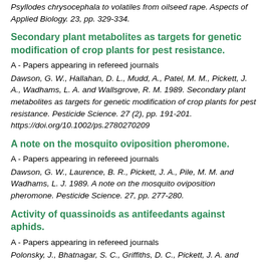Psyllodes chrysocephala to volatiles from oilseed rape. Aspects of Applied Biology. 23, pp. 329-334.
Secondary plant metabolites as targets for genetic modification of crop plants for pest resistance.
A - Papers appearing in refereed journals
Dawson, G. W., Hallahan, D. L., Mudd, A., Patel, M. M., Pickett, J. A., Wadhams, L. A. and Wallsgrove, R. M. 1989. Secondary plant metabolites as targets for genetic modification of crop plants for pest resistance. Pesticide Science. 27 (2), pp. 191-201. https://doi.org/10.1002/ps.2780270209
A note on the mosquito oviposition pheromone.
A - Papers appearing in refereed journals
Dawson, G. W., Laurence, B. R., Pickett, J. A., Pile, M. M. and Wadhams, L. J. 1989. A note on the mosquito oviposition pheromone. Pesticide Science. 27, pp. 277-280.
Activity of quassinoids as antifeedants against aphids.
A - Papers appearing in refereed journals
Polonsky, J., Bhatnagar, S. C., Griffiths, D. C., Pickett, J. A. and